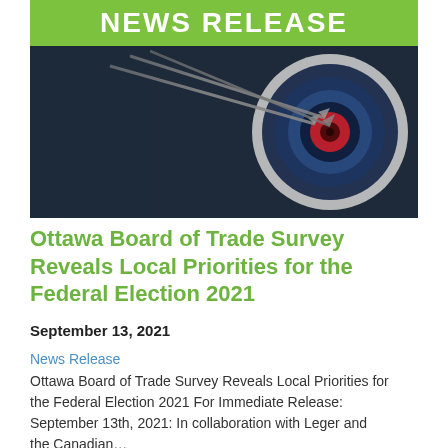NEWS RELEASE
[Figure (photo): Close-up photograph of an archery target with arrows, dark blue and red concentric rings, with arrows striking near the center. The image has a dark overlay effect.]
Ottawa Board of Trade Survey Reveals Local Priorities for the Federal Election 2021
September 13, 2021
News Release
Ottawa Board of Trade Survey Reveals Local Priorities for the Federal Election 2021 For Immediate Release: September 13th, 2021: In collaboration with Leger and the Canadian…